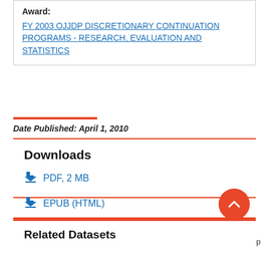Award:
FY 2003 OJJDP DISCRETIONARY CONTINUATION PROGRAMS - RESEARCH, EVALUATION AND STATISTICS
Date Published: April 1, 2010
Downloads
PDF, 2 MB
EPUB (HTML)
MOBI (HTML)
Related Datasets